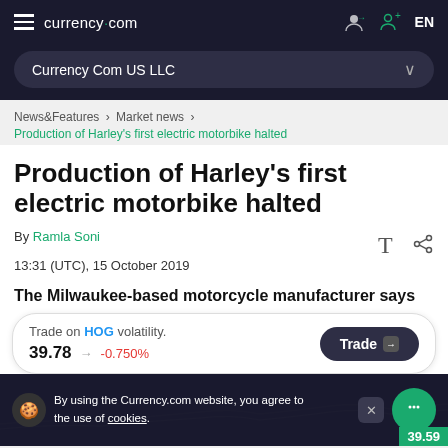currency.com  EN
Currency Com US LLC
News&Features > Market news > Production of Harley's first electric motorbike halted
Production of Harley's first electric motorbike halted
By Ramla Soni
13:31 (UTC), 15 October 2019
The Milwaukee-based motorcycle manufacturer says
Trade on HOG volatility. 39.78 -0.750% Trade
By using the Currency.com website, you agree to the use of cookies.